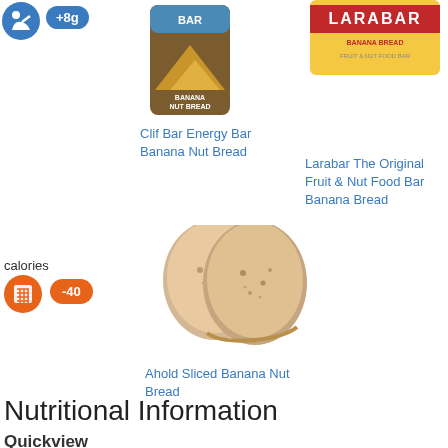[Figure (logo): Blue circular icon with figure/person on it]
+8g
[Figure (photo): Clif Bar Energy Bar Banana Nut Bread product package]
[Figure (photo): Larabar The Original Fruit & Nut Food Bar Banana Bread product package]
Clif Bar Energy Bar Banana Nut Bread
Larabar The Original Fruit & Nut Food Bar Banana Bread
calories
[Figure (logo): Orange circular calculator icon]
-40
[Figure (photo): Ahold Sliced Banana Nut Bread - slices of banana nut bread]
Ahold Sliced Banana Nut Bread
Nutritional Information
Quickview